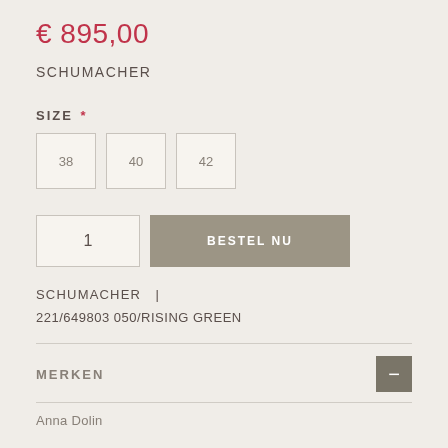€ 895,00
SCHUMACHER
SIZE *
38  40  42
1  BESTEL NU
SCHUMACHER  |
221/649803 050/RISING GREEN
MERKEN
Anna Dolin